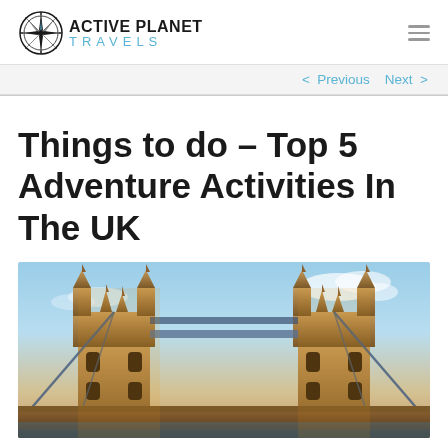ACTIVE PLANET TRAVELS
< Previous   Next >
Things to do – Top 5 Adventure Activities In The UK
[Figure (photo): Tower Bridge in London, UK photographed from below at dusk with warm golden lighting on the Victorian Gothic stonework and a blue sky with clouds in the background.]